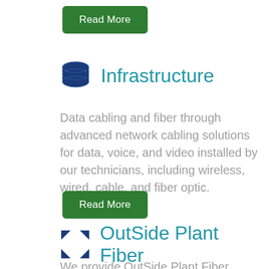[Figure (other): Green 'Read More' button]
Infrastructure
Data cabling and fiber through advanced network cabling solutions for data, voice, and video installed by our technicians, including wireless, wired, cable, and fiber optic.
[Figure (other): Green 'Read More' button]
OutSide Plant Fiber
We provide OutSide Plant Fiber installations for high-quality telecommunication services, either underground or aboveground